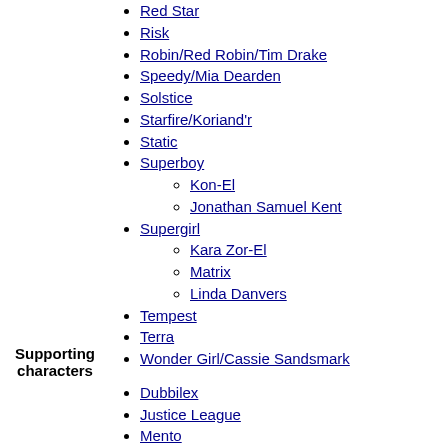Red Star
Risk
Robin/Red Robin/Tim Drake
Speedy/Mia Dearden
Solstice
Starfire/Koriand'r
Static
Superboy
Kon-El
Jonathan Samuel Kent
Supergirl
Kara Zor-El
Matrix
Linda Danvers
Tempest
Terra
Wonder Girl/Cassie Sandsmark
Dubbilex
Justice League
Mento
Sarge Steel
Silas Stone
Thunder and Lightning
Wendy, Marvin and Wonder Dog
Supporting characters